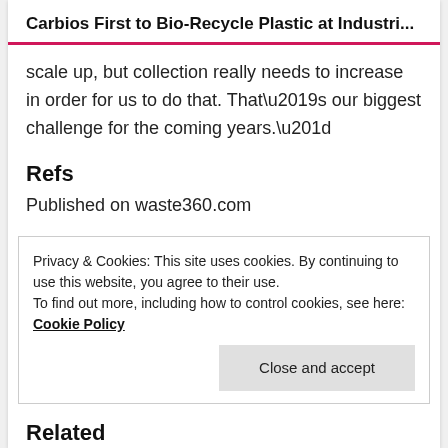Carbios First to Bio-Recycle Plastic at Industri...
scale up, but collection really needs to increase in order for us to do that. That’s our biggest challenge for the coming years.”
Refs
Published on waste360.com
Privacy & Cookies: This site uses cookies. By continuing to use this website, you agree to their use.
To find out more, including how to control cookies, see here: Cookie Policy
Close and accept
Related
Carbios on French TV